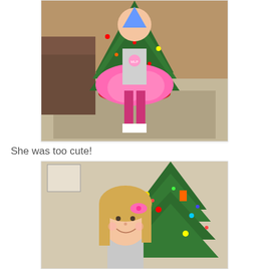[Figure (photo): A young girl wearing a pink tutu skirt, pink leggings, white socks, and a My Little Pony shirt, standing in front of a decorated Christmas tree with a brown couch visible in the background. Colorful Christmas lights and ornaments are on the tree.]
She was too cute!
[Figure (photo): A young blonde girl smiling at the camera, wearing a pink bow in her hair, standing in front of a decorated Christmas tree with colorful ornaments including toy figures and lights.]